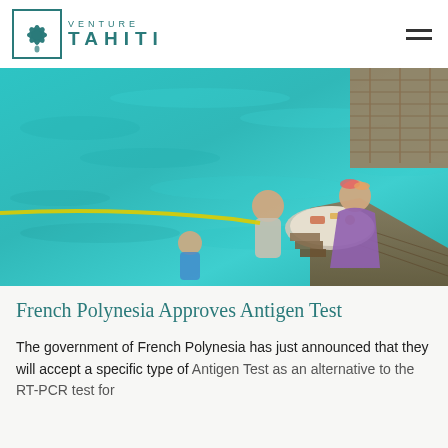VENTURE TAHITI
[Figure (photo): Aerial view of people dining on an overwater dock platform above turquoise lagoon water, with a wooden pier visible in the upper right corner.]
French Polynesia Approves Antigen Test
The government of French Polynesia has just announced that they will accept a specific type of Antigen Test as an alternative to the RT-PCR test for